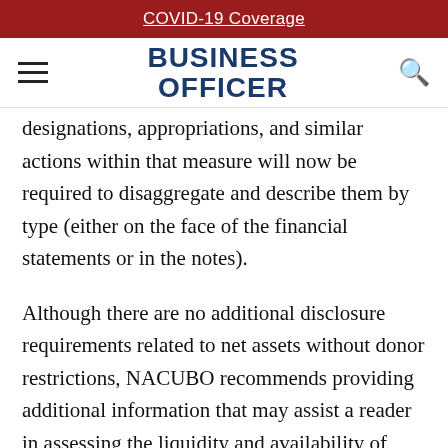COVID-19 Coverage
BUSINESS OFFICER
designations, appropriations, and similar actions within that measure will now be required to disaggregate and describe them by type (either on the face of the financial statements or in the notes).
Although there are no additional disclosure requirements related to net assets without donor restrictions, NACUBO recommends providing additional information that may assist a reader in assessing the liquidity and availability of unrestricted net assets. For